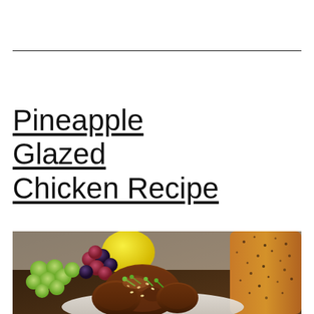Pineapple Glazed Chicken Recipe
[Figure (photo): A plate of pineapple glazed chicken pieces garnished with sliced green onions and sesame seeds, served on a white plate with green and red grapes and a yellow lemon in the background, alongside what appears to be a glazed roasted vegetable or meat item on the right side.]